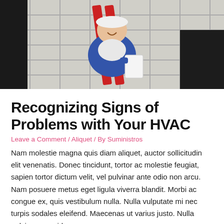[Figure (photo): A technician/repairman in blue overalls holding a red ladder and a white clipboard/folder, viewed from above in a tiled bathroom or utility room setting.]
Recognizing Signs of Problems with Your HVAC
Leave a Comment / Aliquet / By Suministros
Nam molestie magna quis diam aliquet, auctor sollicitudin elit venenatis. Donec tincidunt, tortor ac molestie feugiat, sapien tortor dictum velit, vel pulvinar ante odio non arcu. Nam posuere metus eget ligula viverra blandit. Morbi ac congue ex, quis vestibulum nulla. Nulla vulputate mi nec turpis sodales eleifend. Maecenas ut varius justo. Nulla pulvinar, sem id ...